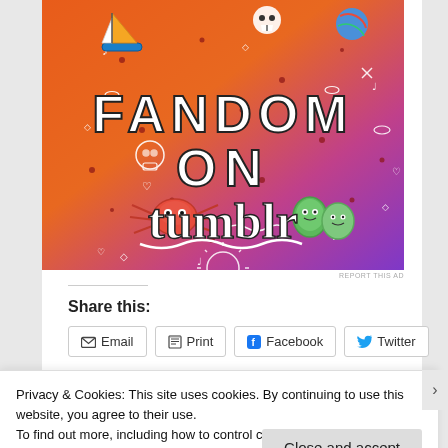[Figure (illustration): Colorful Fandom on Tumblr promotional banner with orange-to-purple gradient background, white doodles, and the text FANDOM ON tumblr in large bold letters]
REPORT THIS AD
Share this:
Email  Print  Facebook  Twitter
Privacy & Cookies: This site uses cookies. By continuing to use this website, you agree to their use.
To find out more, including how to control cookies, see here: Cookie Policy
Close and accept